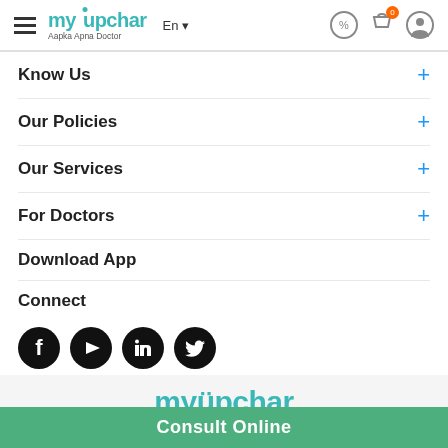myUpchar — Aapka Apna Doctor | En | Header navigation
Know Us +
Our Policies +
Our Services +
For Doctors +
Download App
Connect
[Figure (logo): Social media icons: Facebook, YouTube, LinkedIn, Twitter]
[Figure (logo): myUpchar logo in teal color]
Disclaimer: All information and articles available on this site are for educational purposes only. The information given here should not be used without any expert advice for the diagnosis or treatment of any health related problem or disease. Always seek the advice of a qualified doctor for medical examination and treatment.
Consult Online